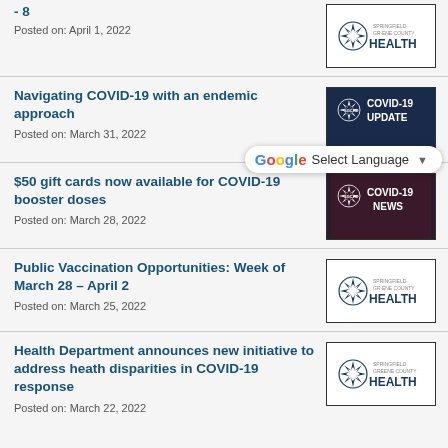- 8
Posted on: April 1, 2022
Navigating COVID-19 with an endemic approach
Posted on: March 31, 2022
$50 gift cards now available for COVID-19 booster doses
Posted on: March 28, 2022
Public Vaccination Opportunities: Week of March 28 – April 2
Posted on: March 25, 2022
Health Department announces new initiative to address heath disparities in COVID-19 response
Posted on: March 22, 2022